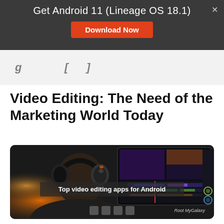Get Android 11 (Lineage OS 18.1)
Download Now
Video Editing: The Need of the Marketing World Today
[Figure (photo): Person wearing headphones seen from behind, looking at a video editing software interface on a monitor. Text overlay reads: Top video editing apps for Android. Watermark: Root MyGalaxy.]
Top video editing apps for Android